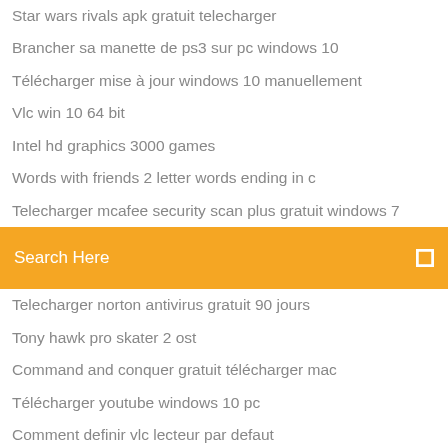Star wars rivals apk gratuit telecharger
Brancher sa manette de ps3 sur pc windows 10
Télécharger mise à jour windows 10 manuellement
Vlc win 10 64 bit
Intel hd graphics 3000 games
Words with friends 2 letter words ending in c
Telecharger mcafee security scan plus gratuit windows 7
[Figure (screenshot): Orange search bar with 'Search Here' placeholder text and a search icon on the right]
Telecharger norton antivirus gratuit 90 jours
Tony hawk pro skater 2 ost
Command and conquer gratuit télécharger mac
Télécharger youtube windows 10 pc
Comment definir vlc lecteur par defaut
Recevoir la tv sur son pc gratuitement
Whatsapp messenger for ipad air
Free ms paint télécharger for xp
Plants vs zombies garden warfare 2 pc gratis mega
Comment recuperer des photos sur carte sd gratuitement